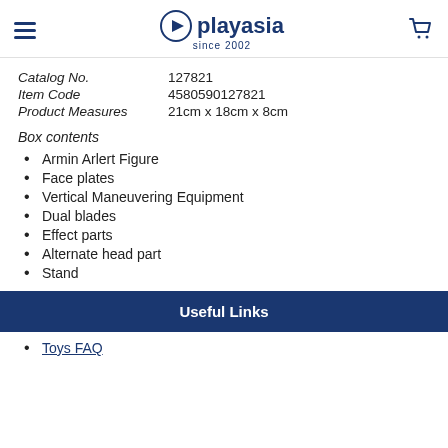playasia since 2002
Catalog No.    127821
Item Code    4580590127821
Product Measures    21cm x 18cm x 8cm
Box contents
Armin Arlert Figure
Face plates
Vertical Maneuvering Equipment
Dual blades
Effect parts
Alternate head part
Stand
Useful Links
Toys FAQ